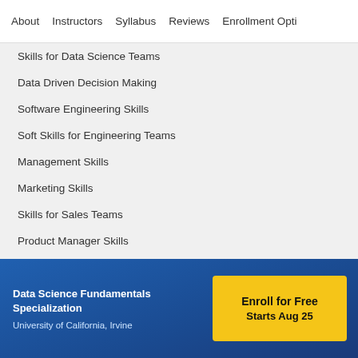About   Instructors   Syllabus   Reviews   Enrollment Opti
Skills for Data Science Teams
Data Driven Decision Making
Software Engineering Skills
Soft Skills for Engineering Teams
Management Skills
Marketing Skills
Skills for Sales Teams
Product Manager Skills
Skills for Finance
Popular Data Science Courses in the UK
Beliebte Technologiekurse in Deutschland
Data Science Fundamentals Specialization
University of California, Irvine
Enroll for Free
Starts Aug 25